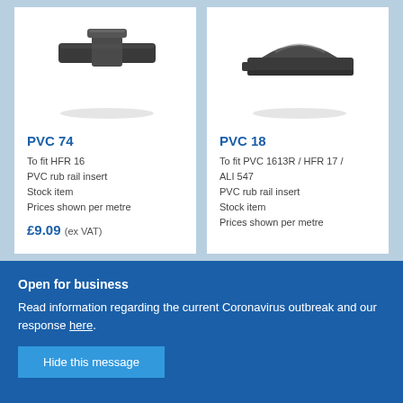[Figure (photo): Photo of PVC 74 dark grey rubber rub rail insert strip, viewed from above, showing T-slot profile]
PVC 74
To fit HFR 16
PVC rub rail insert
Stock item
Prices shown per metre
£9.09 (ex VAT)
[Figure (photo): Photo of PVC 18 dark grey rubber rub rail insert strip, viewed from above, showing D-profile cross section]
PVC 18
To fit PVC 1613R / HFR 17 / ALI 547
PVC rub rail insert
Stock item
Prices shown per metre
Open for business
Read information regarding the current Coronavirus outbreak and our response here.
Hide this message